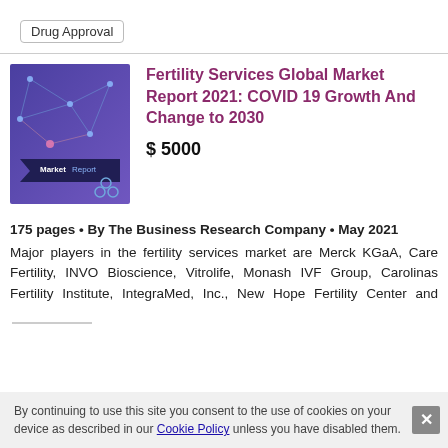Drug Approval
[Figure (illustration): Market Report book cover with blue/purple background and network graphic]
Fertility Services Global Market Report 2021: COVID 19 Growth And Change to 2030
$ 5000
175 pages • By The Business Research Company • May 2021
Major players in the fertility services market are Merck KGaA, Care Fertility, INVO Bioscience, Vitrolife, Monash IVF Group, Carolinas Fertility Institute, IntegraMed, Inc., New Hope Fertility Center and…
By continuing to use this site you consent to the use of cookies on your device as described in our Cookie Policy unless you have disabled them.